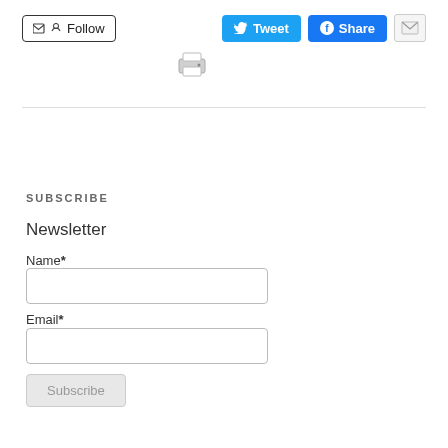[Figure (screenshot): Follow button with email and RSS icons, Tweet button (blue), Share button (blue Facebook), email icon button, and print icon below]
SUBSCRIBE
Newsletter
Name*
Email*
Subscribe